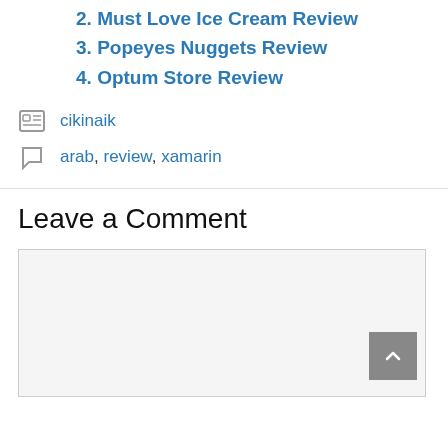2. Must Love Ice Cream Review
3. Popeyes Nuggets Review
4. Optum Store Review
cikinaik
arab, review, xamarin
Leave a Comment